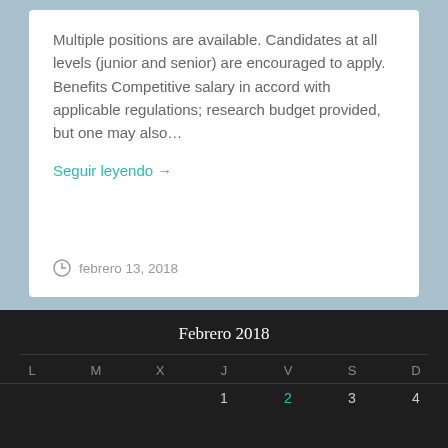Multiple positions are available. Candidates at all levels (junior and senior) are encouraged to apply. Benefits Competitive salary in accord with applicable regulations; research budget provided, but one may also…
Seguir leyendo →
febrero 13, 2018
Febrero 2018
| L | M | X | J | V | S | D |
| --- | --- | --- | --- | --- | --- | --- |
|  |  |  | 1 | 2 | 3 | 4 |